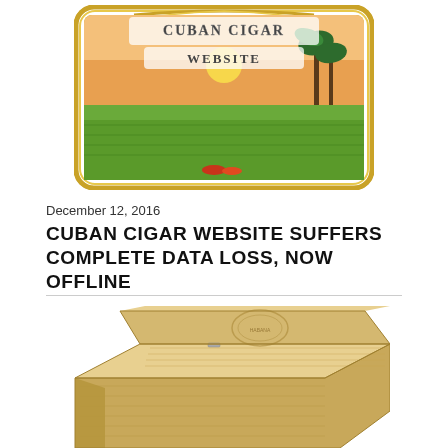[Figure (logo): Cuban Cigar Website ornate logo with golden decorative border, tobacco field landscape, palm trees, sunset sky]
December 12, 2016
CUBAN CIGAR WEBSITE SUFFERS COMPLETE DATA LOSS, NOW OFFLINE
[Figure (photo): Open wooden cigar box, empty interior with decorative stamp/seal visible on the inside lid, showing cedar wood grain]